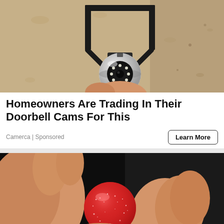[Figure (photo): Security camera mounted on a wall bracket, close-up view showing a dome/PTZ style camera with LED ring and black mounting bracket against a textured beige/tan wall]
Homeowners Are Trading In Their Doorbell Cams For This
Camerca | Sponsored
Learn More
[Figure (photo): Close-up of fingers holding a small red sugar-coated gummy candy/bear against a dark black background]